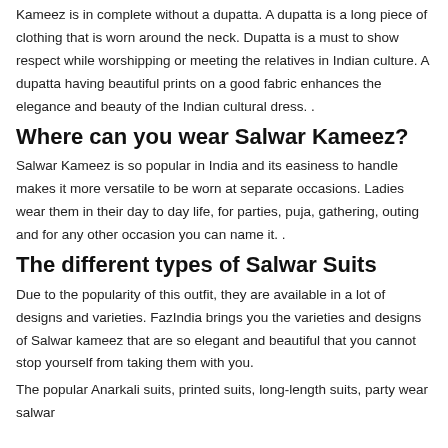Kameez is in complete without a dupatta. A dupatta is a long piece of clothing that is worn around the neck. Dupatta is a must to show respect while worshipping or meeting the relatives in Indian culture. A dupatta having beautiful prints on a good fabric enhances the elegance and beauty of the Indian cultural dress. .
Where can you wear Salwar Kameez?
Salwar Kameez is so popular in India and its easiness to handle makes it more versatile to be worn at separate occasions. Ladies wear them in their day to day life, for parties, puja, gathering, outing and for any other occasion you can name it. .
The different types of Salwar Suits
Due to the popularity of this outfit, they are available in a lot of designs and varieties. FazIndia brings you the varieties and designs of Salwar kameez that are so elegant and beautiful that you cannot stop yourself from taking them with you.
The popular Anarkali suits, printed suits, long-length suits, party wear salwar